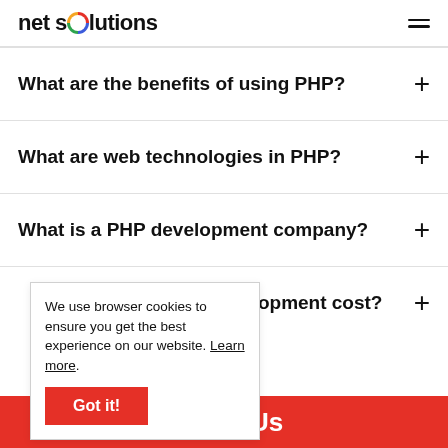net solutions
What are the benefits of using PHP?
What are web technologies in PHP?
What is a PHP development company?
We use browser cookies to ensure you get the best experience on our website. Learn more.
HP development cost?
ontact Us